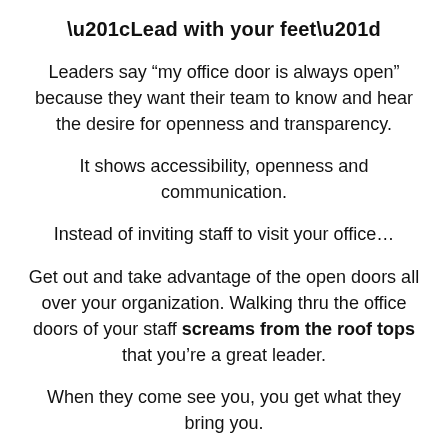“Lead with your feet”
Leaders say “my office door is always open” because they want their team to know and hear the desire for openness and transparency.
It shows accessibility, openness and communication.
Instead of inviting staff to visit your office…
Get out and take advantage of the open doors all over your organization. Walking thru the office doors of your staff screams from the roof tops that you’re a great leader.
When they come see you, you get what they bring you.